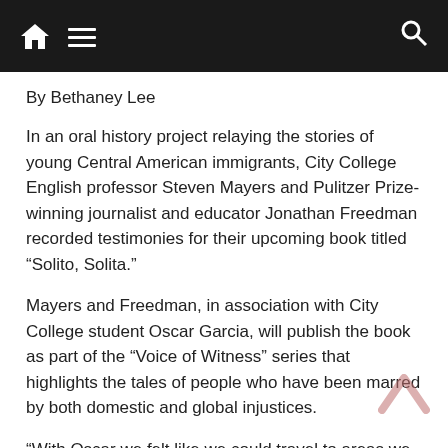Navigation bar with home, menu, and search icons
By Bethaney Lee
In an oral history project relaying the stories of young Central American immigrants, City College English professor Steven Mayers and Pulitzer Prize-winning journalist and educator Jonathan Freedman recorded testimonies for their upcoming book titled “Solito, Solita.”
Mayers and Freedman, in association with City College student Oscar Garcia, will publish the book as part of the “Voice of Witness” series that highlights the tales of people who have been marred by both domestic and global injustices.
“With Oscar we felt like we could travel to areas we